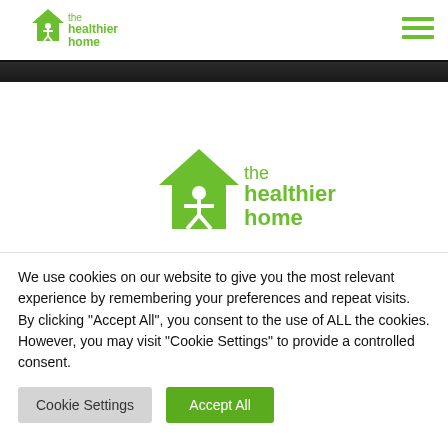[Figure (logo): The Healthier Home logo in green — house shape with person figure and text 'the healthier home']
[Figure (other): Hamburger menu icon (three green horizontal lines)]
[Figure (photo): Dark hero image strip]
[Figure (logo): The Healthier Home logo centered, large version — green house with person figure and text 'the healthier home']
We use cookies on our website to give you the most relevant experience by remembering your preferences and repeat visits. By clicking "Accept All", you consent to the use of ALL the cookies. However, you may visit "Cookie Settings" to provide a controlled consent.
Cookie Settings
Accept All